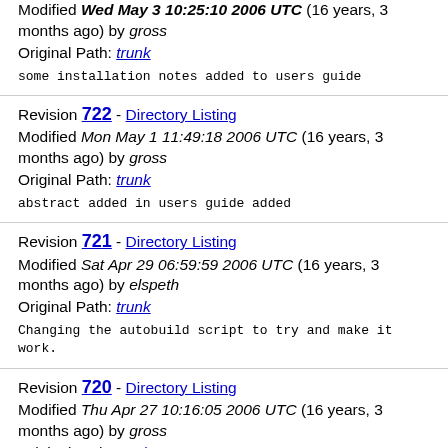Modified Wed May 3 10:25:10 2006 UTC (16 years, 3 months ago) by gross
Original Path: trunk
some installation notes added to users guide
Revision 722 - Directory Listing
Modified Mon May 1 11:49:18 2006 UTC (16 years, 3 months ago) by gross
Original Path: trunk
abstract added in users guide added
Revision 721 - Directory Listing
Modified Sat Apr 29 06:59:59 2006 UTC (16 years, 3 months ago) by elspeth
Original Path: trunk
Changing the autobuild script to try and make it work.
Revision 720 - Directory Listing
Modified Thu Apr 27 10:16:05 2006 UTC (16 years, 3 months ago) by gross
Original Path: trunk
formatting errors in epydoc tags fixed